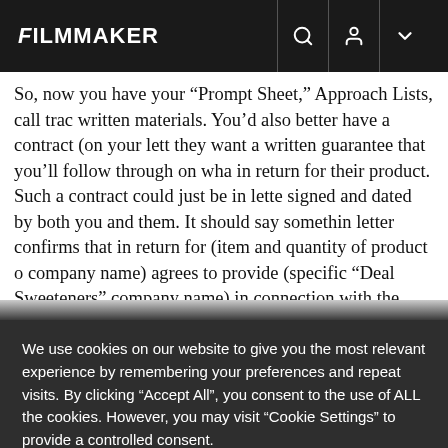FILMMAKER
So, now you have your “Prompt Sheet,” Approach Lists, call tra written materials. You’d also better have a contract (on your lett they want a written guarantee that you’ll follow through on wha in return for their product. Such a contract could just be in lette signed and dated by both you and them. It should say somethin letter confirms that in return for (item and quantity of product o company name) agrees to provide (specific “Deal Sweeteners” company name) in connection with the feature film (title of film
We use cookies on our website to give you the most relevant experience by remembering your preferences and repeat visits. By clicking “Accept All”, you consent to the use of ALL the cookies. However, you may visit “Cookie Settings” to provide a controlled consent.
Cookie Settings
Accept All